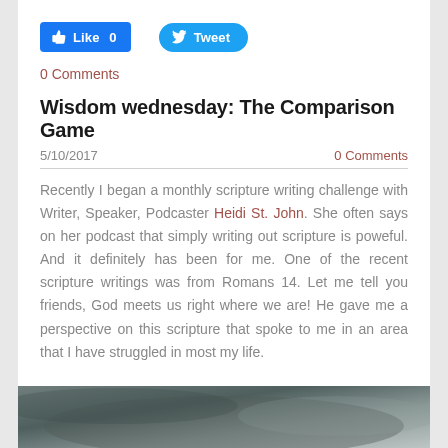[Figure (other): Facebook Like button (blue rectangle) showing thumbs up icon and 'Like 0', and Twitter Tweet button (blue pill shape) showing bird icon and 'Tweet']
0 Comments
Wisdom wednesday: The Comparison Game
5/10/2017
0 Comments
Recently I began a monthly scripture writing challenge with Writer, Speaker, Podcaster Heidi St. John. She often says on her podcast that simply writing out scripture is poweful. And it definitely has been for me. One of the recent scripture writings was from Romans 14. Let me tell you friends, God meets us right where we are! He gave me a perspective on this scripture that spoke to me in an area that I have struggled in most my life.
[Figure (photo): Partial photo at bottom of page showing a dark grey/teal blurred background, appears to be fabric or paper material]